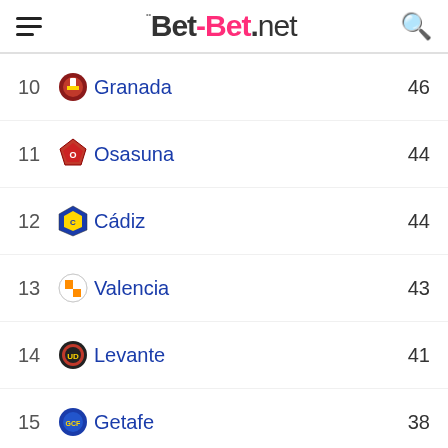Bet-Bet.net
| # | Team | Pts |
| --- | --- | --- |
| 10 | Granada | 46 |
| 11 | Osasuna | 44 |
| 12 | Cádiz | 44 |
| 13 | Valencia | 43 |
| 14 | Levante | 41 |
| 15 | Getafe | 38 |
| 16 | Alavés | 38 |
| 17 | Elche | 36 |
| 18 | Huesca | 34 |